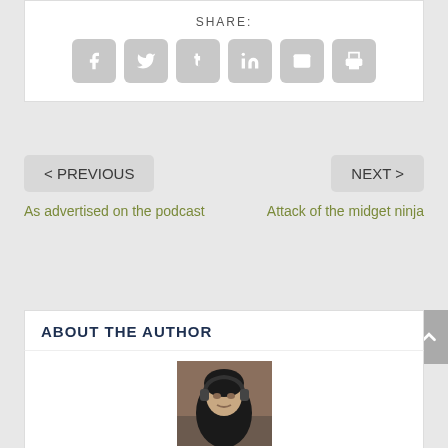SHARE:
[Figure (illustration): Social share icons: Facebook, Twitter, Tumblr, LinkedIn, Email, Print]
< PREVIOUS
NEXT >
As advertised on the podcast
Attack of the midget ninja
ABOUT THE AUTHOR
[Figure (photo): Author photo of Jeremy Hellstrom wearing headphones, sitting in a dark room]
Jeremy Hellstrom